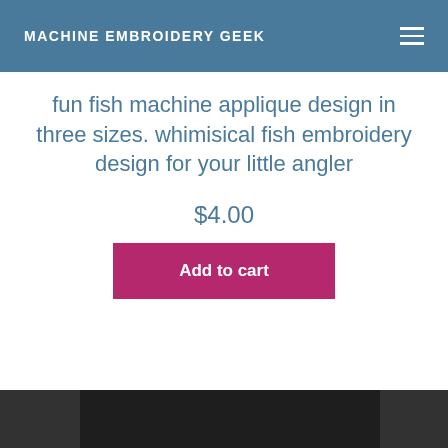MACHINE EMBROIDERY GEEK
fun fish machine applique design in three sizes. whimisical fish embroidery design for your little angler
$4.00
Add to cart
[Figure (photo): Dark fabric or product image strip at the bottom of the page]